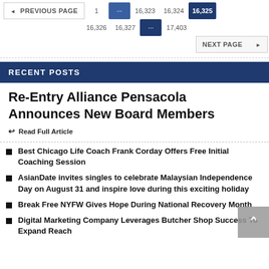PREVIOUS PAGE  1  ...  16,323  16,324  16,325  16,326  16,327  ...  17,403  NEXT PAGE
RECENT POSTS
Re-Entry Alliance Pensacola Announces New Board Members
Read Full Article
Best Chicago Life Coach Frank Corday Offers Free Initial Coaching Session
AsianDate invites singles to celebrate Malaysian Independence Day on August 31 and inspire love during this exciting holiday
Break Free NYFW Gives Hope During National Recovery Month
Digital Marketing Company Leverages Butcher Shop Success To Expand Reach